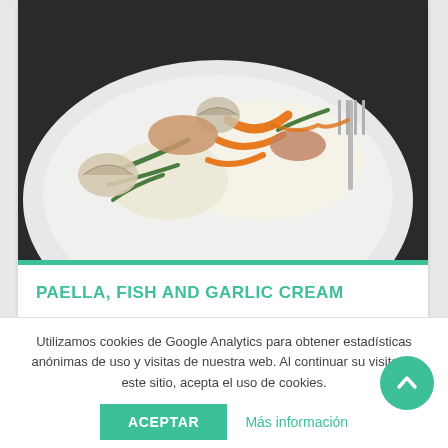[Figure (photo): A plate of paella with fish, seafood, vegetables (green beans, carrots), rice, and a fork, viewed from above on a white plate against a dark background.]
PAELLA, FISH AND GARLIC CREAM
TYPE OF DISH: RICES
TEMPERATURE: HOT
Utilizamos cookies de Google Analytics para obtener estadísticas anónimas de uso y visitas de nuestra web. Al continuar su visita en este sitio, acepta el uso de cookies.
ACEPTAR    Más información